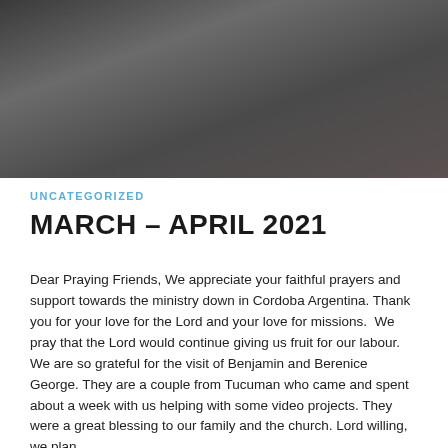[Figure (photo): Group photo of several people standing together indoors, dark background lighting]
UNCATEGORIZED
MARCH – APRIL 2021
Dear Praying Friends, We appreciate your faithful prayers and support towards the ministry down in Cordoba Argentina. Thank you for your love for the Lord and your love for missions. We pray that the Lord would continue giving us fruit for our labour. We are so grateful for the visit of Benjamin and Berenice George. They are a couple from Tucuman who came and spent about a week with us helping with some video projects. They were a great blessing to our family and the church. Lord willing, we plan…